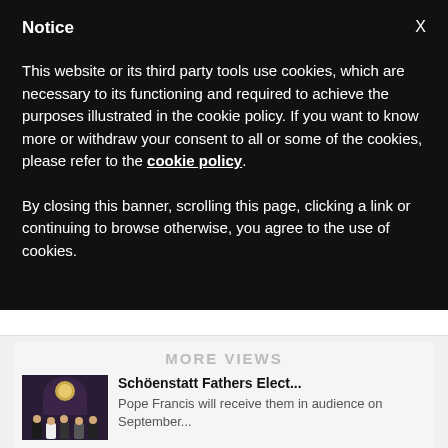Notice
This website or its third party tools use cookies, which are necessary to its functioning and required to achieve the purposes illustrated in the cookie policy. If you want to know more or withdraw your consent to all or some of the cookies, please refer to the cookie policy.
By closing this banner, scrolling this page, clicking a link or continuing to browse otherwise, you agree to the use of cookies.
MORE VIEWS
[Figure (photo): Thumbnail photo of a group of people in front of a religious icon or shrine]
Schöenstatt Fathers Elect...
Pope Francis will receive them in audience on September...